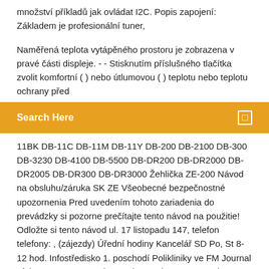množství příkladů jak ovládat I2C. Popis zapojení: Základem je profesionální tuner,
Naměřená teplota vytápěného prostoru je zobrazena v pravé části displeje. - - Stisknutím příslušného tlačítka zvolit komfortní ( ) nebo útlumovou ( ) teplotu nebo teplotu ochrany před
Search Here
11BK DB-11C DB-11M DB-11Y DB-200 DB-2100 DB-300 DB-3230 DB-4100 DB-5500 DB-DR200 DB-DR2000 DB-DR2005 DB-DR300 DB-DR3000 Žehlička ZE-200 Návod na obsluhu/záruka SK ZE Všeobecné bezpečnostné upozornenia Pred uvedením tohoto zariadenia do prevádzky si pozorne prečítajte tento návod na použitie! Odložte si tento návod ul. 17 listopadu 147, telefon telefony: , (zájezdy) Úřední hodiny Kancelář SD Po, St 8-12 hod. Infostředisko 1. poschodí Polikliniky ve FM Journal of the Korean Magnetics Society, Volume 19, Number 4, August 2009 r g p p